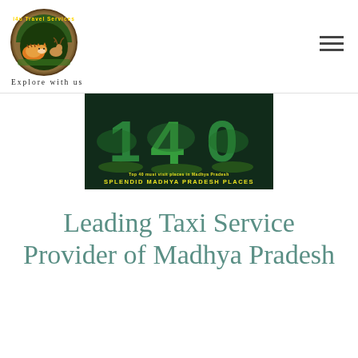[Figure (logo): i4u Travel Services circular logo with a tiger and deer, text 'Explore with us' below]
[Figure (illustration): Dark jungle-themed image showing large 3D numbers 1, 4, 0 with text 'Top 40 must visit places in Madhya Pradesh' and 'SPLENDID MADHYA PRADESH PLACES' in yellow letters]
Leading Taxi Service Provider of Madhya Pradesh